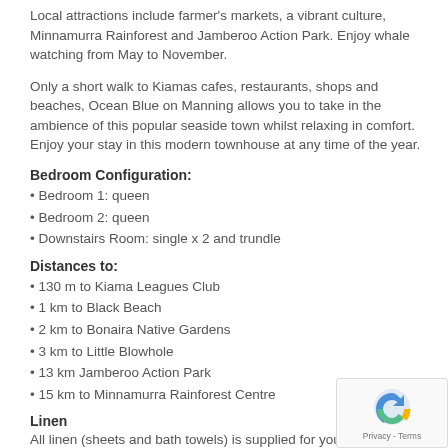Local attractions include farmer's markets, a vibrant culture, Minnamurra Rainforest and Jamberoo Action Park. Enjoy whale watching from May to November.
Only a short walk to Kiamas cafes, restaurants, shops and beaches, Ocean Blue on Manning allows you to take in the ambience of this popular seaside town whilst relaxing in comfort. Enjoy your stay in this modern townhouse at any time of the year.
Bedroom Configuration:
• Bedroom 1: queen
• Bedroom 2: queen
• Downstairs Room: single x 2 and trundle
Distances to:
• 130 m to Kiama Leagues Club
• 1 km to Black Beach
• 2 km to Bonaira Native Gardens
• 3 km to Little Blowhole
• 13 km Jamberoo Action Park
• 15 km to Minnamurra Rainforest Centre
Linen
All linen (sheets and bath towels) is supplied for your stay and inc in the tariff. For the comfort of our guests, we do not triple sheet. A have a fitted sheet, a flat sheet and a quilt with a full cover. BYO beach